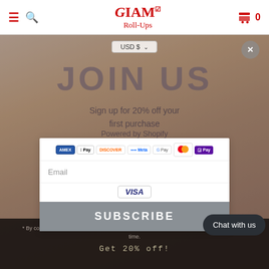Glam Roll-Ups — navigation header with hamburger menu, search, logo, cart (0)
[Figure (screenshot): E-commerce website screenshot showing Glam Roll-Ups store with a modal popup overlay on a cat background image. Modal contains JOIN US heading, sign up for 20% off text, Powered by Shopify, payment icons (AMEX, Apple Pay, Discover, Meta, Google Pay, Mastercard, Shopify Pay, Visa), email field, SUBSCRIBE button, Chat with us button, and bottom disclaimer text.]
JOIN US
Sign up for 20% off your first purchase
Powered by Shopify
Email
SUBSCRIBE
Chat with us
* By completing this form you are signing up to receive our emails and can unsubscribe at any time.
Get 20% off!